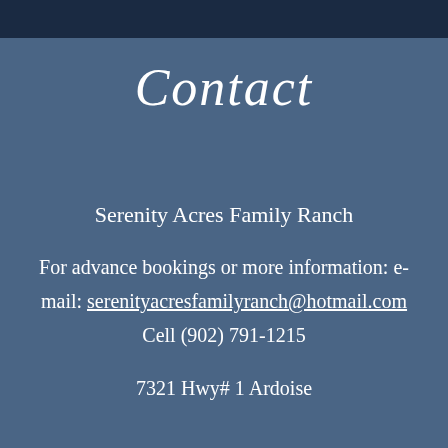Contact
Serenity Acres Family Ranch
For advance bookings or more information: e-mail: serenityacresfamilyranch@hotmail.com Cell (902) 791-1215
7321 Hwy# 1 Ardoise